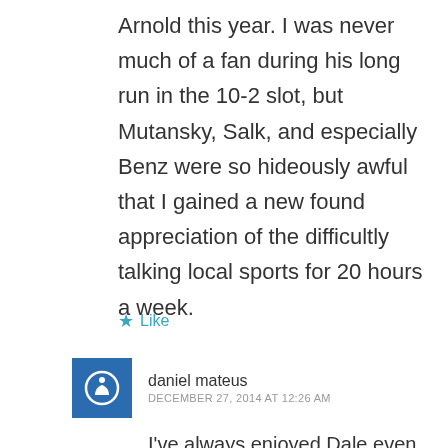Arnold this year. I was never much of a fan during his long run in the 10-2 slot, but Mutansky, Salk, and especially Benz were so hideously awful that I gained a new found appreciation of the difficultly talking local sports for 20 hours a week.
★ Like
daniel mateus
DECEMBER 27, 2014 AT 12:26 AM
I've always enjoyed Dale even going back to his days with Eddie.